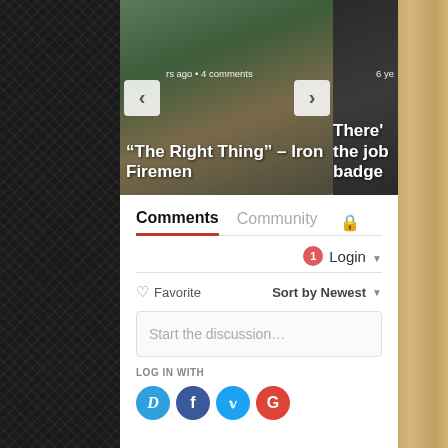[Figure (screenshot): Carousel showing two article thumbnails with navigation arrows. Left card: article with overlay text '"The Right Thing" – Iron Firemen' and metadata 'rs ago • 4 comments'. Right card: partial article with text 'There' ... 'the job' ... 'badge'.]
Comments  Community 🔒
1  Login ▾
♡ Favorite  Sort by Newest ▾
Start the discussion…
LOG IN WITH
[Figure (screenshot): Social login icons: Disqus (D), Facebook (f), Twitter bird, Google (G)]